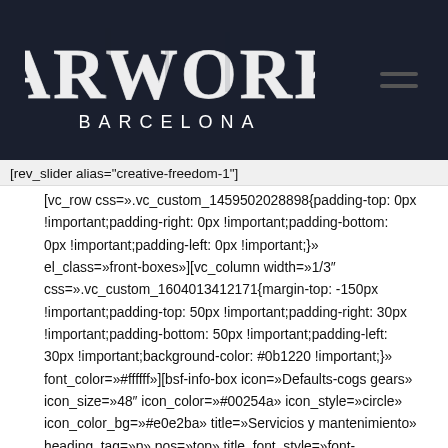[Figure (logo): Carworks Barcelona logo — white distressed western-style lettering on dark navy background]
[rev_slider alias="creative-freedom-1"]
[vc_row css=».vc_custom_1459502028898{padding-top: 0px !important;padding-right: 0px !important;padding-bottom: 0px !important;padding-left: 0px !important;}» el_class=»front-boxes»][vc_column width=»1/3″ css=».vc_custom_1604013412171{margin-top: -150px !important;padding-top: 50px !important;padding-right: 30px !important;padding-bottom: 50px !important;padding-left: 30px !important;background-color: #0b1220 !important;}» font_color=»#ffffff»][bsf-info-box icon=»Defaults-cogs gears» icon_size=»48″ icon_color=»#00254a» icon_style=»circle» icon_color_bg=»#e0e2ba» title=»Servicios y mantenimiento» heading_tag=»p» pos=»top» title_font_style=»font-